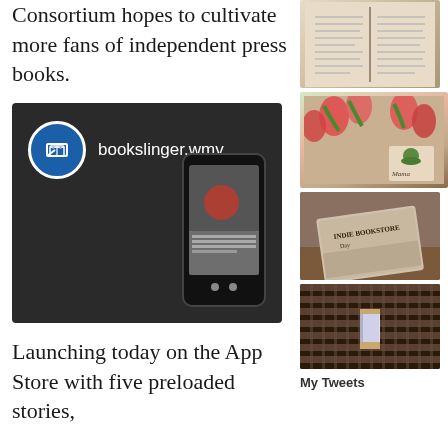Consortium hopes to cultivate more fans of independent press books.
[Figure (screenshot): Dark video player thumbnail showing bookslinger.wmv with a circular book icon logo on the left and a phone preview on the right]
Launching today on the App Store with five preloaded stories,
[Figure (photo): Photo of an open book with text pages]
[Figure (photo): Photo of a book titled Mama with pink tulips arranged around it on a wooden surface]
[Figure (photo): Photo of an Indie Bookstore book on a wooden surface]
[Figure (photo): Photo of a woven basket or mat with a small colorful book standing upright]
My Tweets